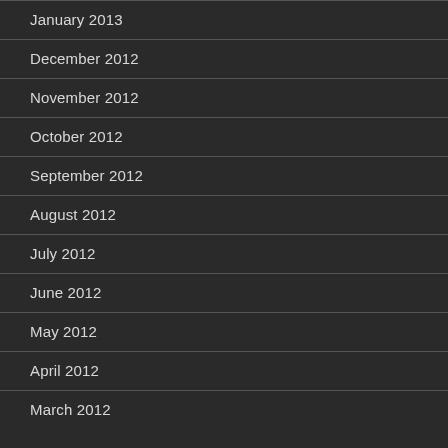January 2013
December 2012
November 2012
October 2012
September 2012
August 2012
July 2012
June 2012
May 2012
April 2012
March 2012